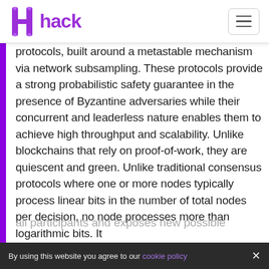hack
protocols, built around a metastable mechanism via network subsampling. These protocols provide a strong probabilistic safety guarantee in the presence of Byzantine adversaries while their concurrent and leaderless nature enables them to achieve high throughput and scalability. Unlike blockchains that rely on proof-of-work, they are quiescent and green. Unlike traditional consensus protocols where one or more nodes typically process linear bits in the number of total nodes per decision, no node processes more than logarithmic bits. It
all participants and exposes new possible
By using this website you agree to our cookie policy ×